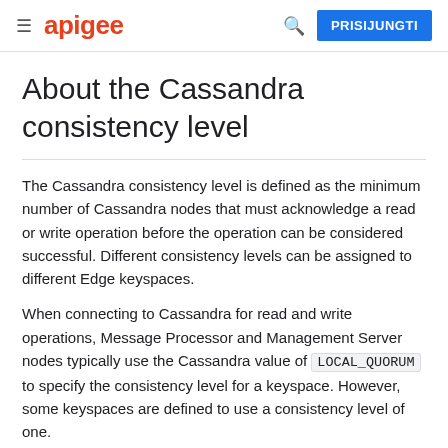apigee | PRISIJUNGTI
About the Cassandra consistency level
The Cassandra consistency level is defined as the minimum number of Cassandra nodes that must acknowledge a read or write operation before the operation can be considered successful. Different consistency levels can be assigned to different Edge keyspaces.
When connecting to Cassandra for read and write operations, Message Processor and Management Server nodes typically use the Cassandra value of LOCAL_QUORUM to specify the consistency level for a keyspace. However, some keyspaces are defined to use a consistency level of one.